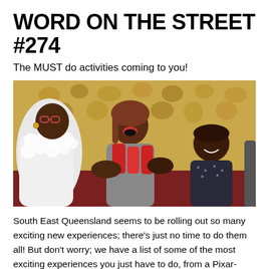WORD ON THE STREET #274
The MUST do activities coming to you!
[Figure (photo): Three women laughing and clinking drinks together at a bar or restaurant with a patterned yellow-orange wallpaper in the background. One woman in a white fluffy jacket, one in the center with red hair laughing with mouth open, one on the right with short hair smiling broadly.]
South East Queensland seems to be rolling out so many exciting new experiences; there's just no time to do them all! But don't worry; we have a list of some of the most exciting experiences you just have to do, from a Pixar-themed Putt-Putt to a winter Rooftop lodge. There are so